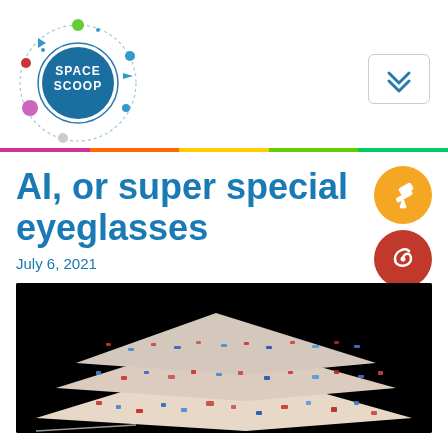[Figure (logo): Space Scoop logo — circular logo with planets and spacecraft orbiting around a dark blue central circle with 'SPACE SCOOP' text in white]
[Figure (other): Navigation dropdown button with a chevron/double arrow down icon, rounded rectangle border]
AI, or super special eyeglasses
[Figure (other): Orange circle icon with a white telescope symbol]
[Figure (other): Dark red circle icon with a white spiral/galaxy symbol]
July 6, 2021
[Figure (photo): Scientific visualization showing layered flat planes with red and blue speckled patterns (resembling cosmic microwave background data) displayed against a black background, arranged in a stacked perspective view]